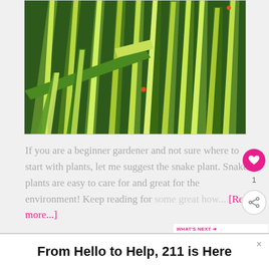[Figure (photo): Close-up photograph of green variegated plant leaves (snake plant / Sansevieria) with yellow-green striping, showing numerous tall narrow leaves pointing upward and diagonally]
If you are a beginner gardener and not sure where to start with plants, let me suggest the snake plant. Snake plants are easy to care for and great for the environment! Keep reading for some great how... [Read more...]
From Hello to Help, 211 is Here